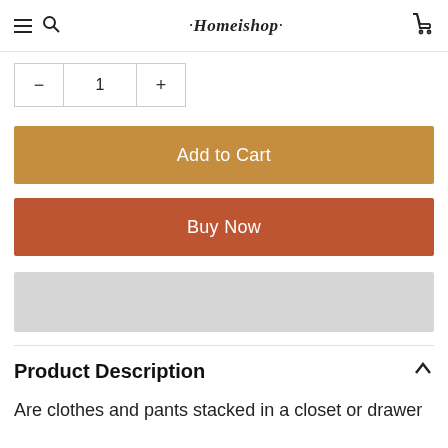Homeishop — navigation bar with hamburger menu, search, logo, and cart
- 1 +
Add to Cart
Buy Now
[Figure (other): Gray placeholder banner]
Product Description
Are clothes and pants stacked in a closet or drawer